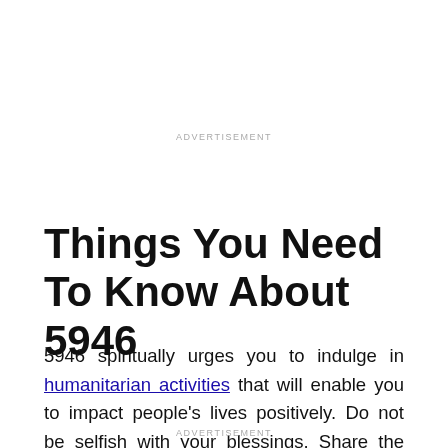ADVERTISEMENT
Things You Need To Know About 5946
5946 spiritually urges you to indulge in humanitarian activities that will enable you to impact people's lives positively. Do not be selfish with your blessings. Share the little you have with the less fortunate in society, and the divine realm will bless you abundantly.
ADVERTISEMENT